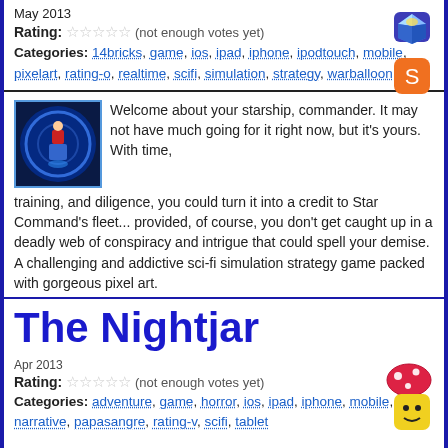May 2013
Rating: ☆☆☆☆☆ (not enough votes yet)
Categories: 14bricks, game, ios, ipad, iphone, ipodtouch, mobile, pixelart, rating-o, realtime, scifi, simulation, strategy, warballoon
Welcome about your starship, commander. It may not have much going for it right now, but it's yours. With time, training, and diligence, you could turn it into a credit to Star Command's fleet... provided, of course, you don't get caught up in a deadly web of conspiracy and intrigue that could spell your demise. A challenging and addictive sci-fi simulation strategy game packed with gorgeous pixel art.
The Nightjar
Apr 2013
Rating: ☆☆☆☆☆ (not enough votes yet)
Categories: adventure, game, horror, ios, ipad, iphone, mobile, narrative, papasangre, rating-v, scifi, tablet